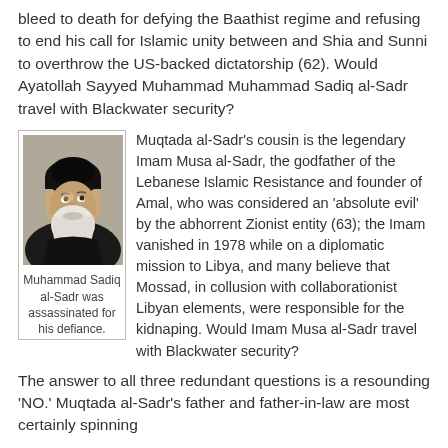bleed to death for defying the Baathist regime and refusing to end his call for Islamic unity between and Shia and Sunni to overthrow the US-backed dictatorship (62). Would Ayatollah Sayyed Muhammad Muhammad Sadiq al-Sadr travel with Blackwater security?
[Figure (photo): Black and white photograph of Muhammad Sadiq al-Sadr, an elderly bearded man wearing a black turban and dark robes, looking upward.]
Muhammad Sadiq al-Sadr was assassinated for his defiance.
Muqtada al-Sadr's cousin is the legendary Imam Musa al-Sadr, the godfather of the Lebanese Islamic Resistance and founder of Amal, who was considered an 'absolute evil' by the abhorrent Zionist entity (63); the Imam vanished in 1978 while on a diplomatic mission to Libya, and many believe that Mossad, in collusion with collaborationist Libyan elements, were responsible for the kidnaping. Would Imam Musa al-Sadr travel with Blackwater security?
The answer to all three redundant questions is a resounding 'NO.' Muqtada al-Sadr's father and father-in-law are most certainly spinning